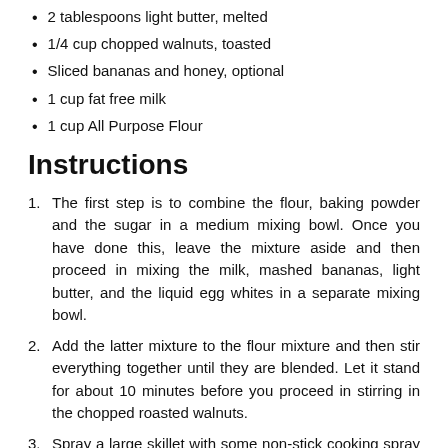2 tablespoons light butter, melted
1/4 cup chopped walnuts, toasted
Sliced bananas and honey, optional
1 cup fat free milk
1 cup All Purpose Flour
Instructions
The first step is to combine the flour, baking powder and the sugar in a medium mixing bowl. Once you have done this, leave the mixture aside and then proceed in mixing the milk, mashed bananas, light butter, and the liquid egg whites in a separate mixing bowl.
Add the latter mixture to the flour mixture and then stir everything together until they are blended. Let it stand for about 10 minutes before you proceed in stirring in the chopped roasted walnuts.
Spray a large skillet with some non-stick cooking spray and then put it over medium heat. Pour ¼ cup of batter for each pancake and then cook it until it turns golden